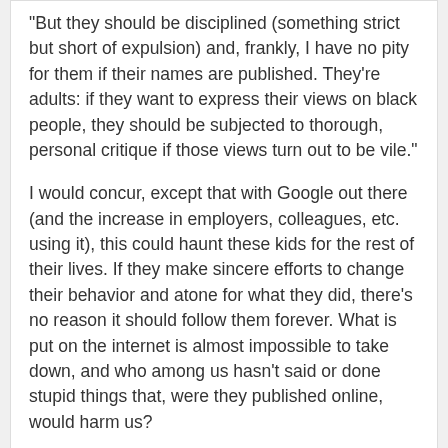"But they should be disciplined (something strict but short of expulsion) and, frankly, I have no pity for them if their names are published. They're adults: if they want to express their views on black people, they should be subjected to thorough, personal critique if those views turn out to be vile."

I would concur, except that with Google out there (and the increase in employers, colleagues, etc. using it), this could haunt these kids for the rest of their lives. If they make sincere efforts to change their behavior and atone for what they did, there's no reason it should follow them forever. What is put on the internet is almost impossible to take down, and who among us hasn't said or done stupid things that, were they published online, would harm us?
Zeb says: